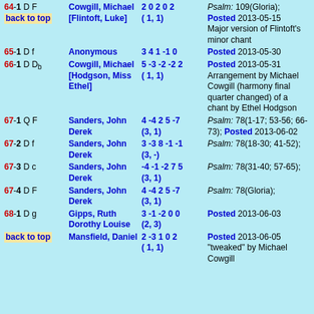| ID | Composer | Notes | Description |
| --- | --- | --- | --- |
| 64-1 D F [back to top] | Cowgill, Michael [Flintoft, Luke] | 2 0 2 0 2 (1,1) | Psalm: 109(Gloria); Posted 2013-05-15 Major version of Flintoft's minor chant |
| 65-1 D f | Anonymous | 3 4 1 -1 0 | Posted 2013-05-30 |
| 66-1 D Db | Cowgill, Michael [Hodgson, Miss Ethel] | 5 -3 -2 -2 2 (1,1) | Posted 2013-05-31 Arrangement by Michael Cowgill (harmony final quarter changed) of a chant by Ethel Hodgson |
| 67-1 Q F | Sanders, John Derek | 4 -4 2 5 -7 (3,1) | Psalm: 78(1-17; 53-56; 66-73); Posted 2013-06-02 |
| 67-2 D f | Sanders, John Derek | 3 -3 8 -1 -1 (3,-) | Psalm: 78(18-30; 41-52); |
| 67-3 D c | Sanders, John Derek | -4 -1 -2 7 5 (3,1) | Psalm: 78(31-40; 57-65); |
| 67-4 D F | Sanders, John Derek | 4 -4 2 5 -7 (3,1) | Psalm: 78(Gloria); |
| 68-1 D g | Gipps, Ruth Dorothy Louise | 3 -1 -2 0 0 (2,3) | Posted 2013-06-03 |
| back to top | Mansfield, Daniel | 2 -3 1 0 2 (1,1) | Posted 2013-06-05 "tweaked" by Michael Cowgill |